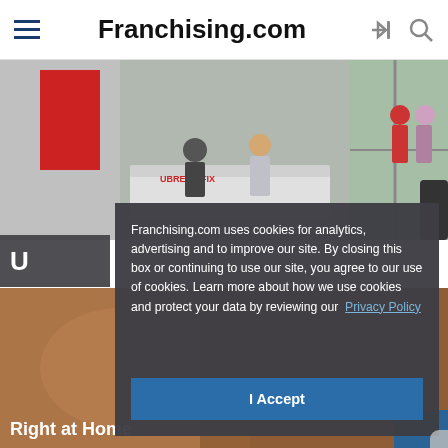Franchising.com
[Figure (screenshot): UBreakiFix store interior with reception desk and customers near glass entrance]
[Figure (photo): Partial warm-toned background image with 'Right at Home' text overlay at bottom]
Franchising.com uses cookies for analytics, advertising and to improve our site. By closing this box or continuing to use our site, you agree to our use of cookies. Learn more about how we use cookies and protect your data by reviewing our Privacy Policy
I Accept